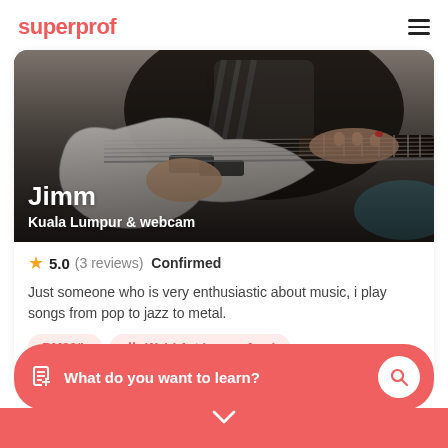superprof
[Figure (photo): A person playing a white electric guitar, hands visible on the fretboard and body. The image is used as a profile card background with the name Jimm and location Kuala Lumpur & webcam overlaid.]
Jimm
Kuala Lumpur & webcam
5.0 (3 reviews) Confirmed
Just someone who is very enthusiastic about music, i play songs from pop to jazz to metal.
RM20/h
Wah! 1st lesson free!
What do you want to learn?